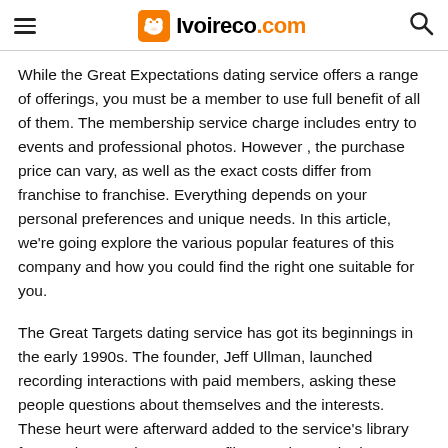Ivoireco.com
While the Great Expectations dating service offers a range of offerings, you must be a member to use full benefit of all of them. The membership service charge includes entry to events and professional photos. However , the purchase price can vary, as well as the exact costs differ from franchise to franchise. Everything depends on your personal preferences and unique needs. In this article, we're going explore the various popular features of this company and how you could find the right one suitable for you.
The Great Targets dating service has got its beginnings in the early 1990s. The founder, Jeff Ullman, launched recording interactions with paid members, asking these people questions about themselves and the interests. These heurt were afterward added to the service's library for members to view. You can filter out those who haven't go back messages or had unsuccessful dates. This videotape way has